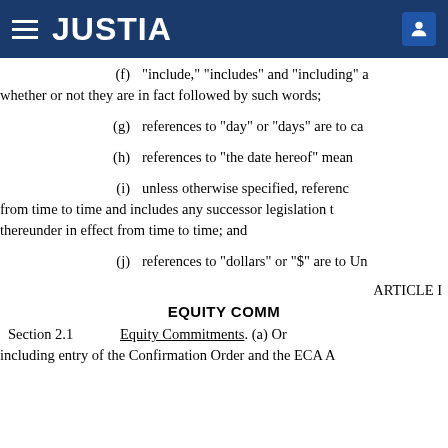JUSTIA
(f)   “include,” “includes” and “including” a whether or not they are in fact followed by such words;
(g)   references to “day” or “days” are to ca
(h)   references to “the date hereof” mean
(i)    unless otherwise specified, referenc from time to time and includes any successor legislation t thereunder in effect from time to time; and
(j)    references to “dollars” or “$” are to Un
ARTICLE I
EQUITY COMM
Section 2.1    Equity Commitments. (a) Or including entry of the Confirmation Order and the ECA A